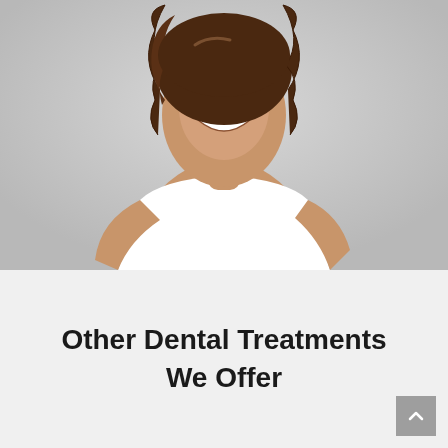[Figure (photo): A smiling woman with long curly brown hair, wearing a white tank top and dark jeans, posed against a light gray background. She is leaning slightly forward and smiling broadly.]
Other Dental Treatments We Offer